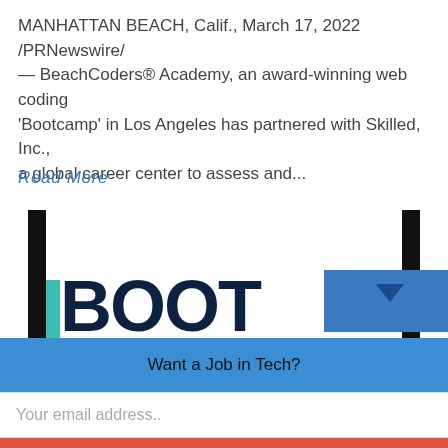MANHATTAN BEACH, Calif., March 17, 2022 /PRNewswire/ — BeachCoders® Academy, an award-winning web coding 'Bootcamp' in Los Angeles has partnered with Skilled, Inc., a global career center to assess and...
Read More
[Figure (screenshot): Partial screenshot of a bootcamp logo with large dark blue block letters spelling 'BOOT' and more, with black vertical bars on left and right, a teal stripe on the left, and a blue rectangle with downward triangle on the right.]
Want a Job in Tech?
Your email address..
GET THE REPORT